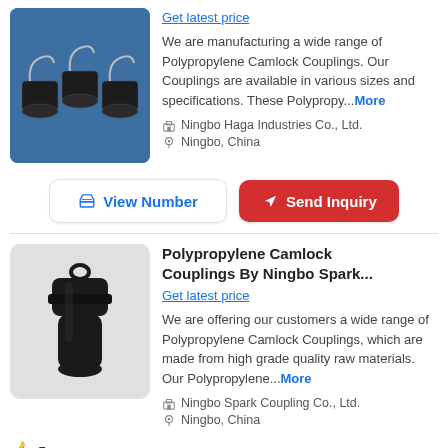[Figure (photo): Photo of Polypropylene Camlock Couplings against blue background]
Get latest price
We are manufacturing a wide range of Polypropylene Camlock Couplings. Our Couplings are available in various sizes and specifications. These Polypropy...More
Ningbo Haga Industries Co., Ltd.
Ningbo, China
View Number
Send Inquiry
[Figure (photo): Photo of a single black Polypropylene Camlock Coupling on gray background]
Polypropylene Camlock Couplings By Ningbo Spark...
Get latest price
We are offering our customers a wide range of Polypropylene Camlock Couplings, which are made from high grade quality raw materials. Our Polypropylene...More
Ningbo Spark Coupling Co., Ltd.
Ningbo, China
5